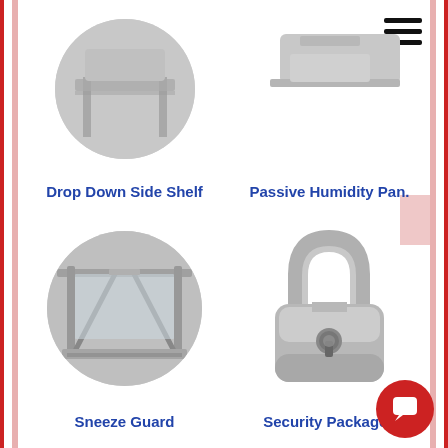[Figure (photo): Drop Down Side Shelf - circular cropped photo of a shelf product, partially cut off at top]
Drop Down Side Shelf
[Figure (photo): Passive Humidity Panel - circular cropped photo partially visible, with hamburger menu icon top right]
Passive Humidity Pan.
[Figure (photo): Sneeze Guard - circular cropped photo showing a sneeze guard product with metal frame]
Sneeze Guard
[Figure (illustration): Security Packages - 3D illustration of a silver/grey padlock]
Security Packages